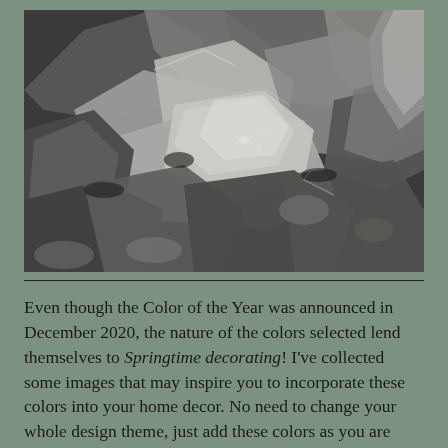[Figure (photo): Close-up photograph of dark grey/silver metallic rocks or coal chunks piled together, with varying sizes and textures, some with shiny metallic surfaces.]
Even though the Color of the Year was announced in December 2020, the nature of the colors selected lend themselves to Springtime decorating! I've collected some images that may inspire you to incorporate these colors into your home decor. No need to change your whole design theme, just add these colors as you are